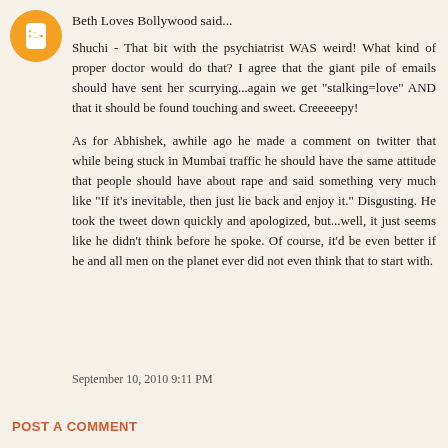[Figure (logo): Orange circular Blogger avatar icon with white 'B' letter]
Beth Loves Bollywood said...
Shuchi - That bit with the psychiatrist WAS weird! What kind of proper doctor would do that? I agree that the giant pile of emails should have sent her scurrying...again we get "stalking=love" AND that it should be found touching and sweet. Creeeeepy!

As for Abhishek, awhile ago he made a comment on twitter that while being stuck in Mumbai traffic he should have the same attitude that people should have about rape and said something very much like "If it's inevitable, then just lie back and enjoy it." Disgusting. He took the tweet down quickly and apologized, but...well, it just seems like he didn't think before he spoke. Of course, it'd be even better if he and all men on the planet ever did not even think that to start with.
September 10, 2010 9:11 PM
POST A COMMENT